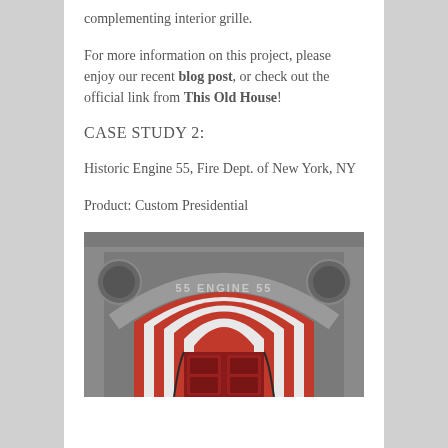complementing interior grille.
For more information on this project, please enjoy our recent blog post, or check out the official link from This Old House!
CASE STUDY 2:
Historic Engine 55, Fire Dept. of New York, NY
Product: Custom Presidential
[Figure (photo): Architectural photo of the entrance arch of Historic Engine 55 Fire Department building in New York, featuring ornate stone carvings, red and white arched brickwork, and red doors with decorative ironwork. The words 'ENGINE 55' are carved into the stone arch above the entrance.]